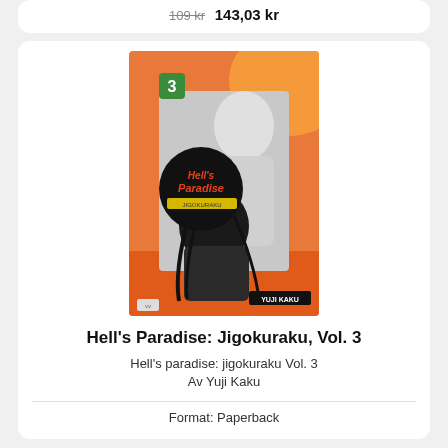109 kr  143,03 kr
[Figure (photo): Book cover of Hell's Paradise: Jigokuraku Vol. 3 by Yuji Kaku, showing manga artwork with characters and the title in orange/black text on a black circle, with a green '3' badge in the top left corner]
Hell's Paradise: Jigokuraku, Vol. 3
Hell's paradise: jigokuraku Vol. 3
Av Yuji Kaku
Format: Paperback